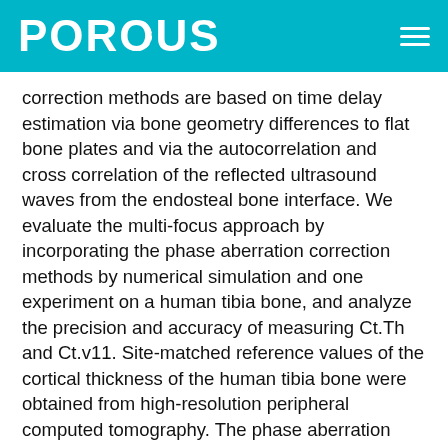POROUS
correction methods are based on time delay estimation via bone geometry differences to flat bone plates and via the autocorrelation and cross correlation of the reflected ultrasound waves from the endosteal bone interface. We evaluate the multi-focus approach by incorporating the phase aberration correction methods by numerical simulation and one experiment on a human tibia bone, and analyze the precision and accuracy of measuring Ct.Th and Ct.v11. Site-matched reference values of the cortical thickness of the human tibia bone were obtained from high-resolution peripheral computed tomography. The phase aberration correction methods resulted in a more precise (coefficient of variation of 5.7%) and accurate (root mean square error of 6.3%) estimation of Ct.Th, and a more precise (9.8%) and accurate (3.4%) Ct.v11 estimation, than without any phase aberration correction. The developed multi-focus method including phase aberration corrections provides local estimations of both cortical thickness and